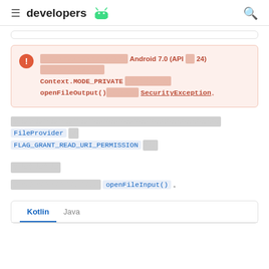≡ developers 🤖  🔍
[Warning box]: Starting with Android 7.0 (API level 24), using Context.MODE_PRIVATE will cause openFileOutput() to throw a SecurityException.
[redacted text] FileProvider and FLAG_GRANT_READ_URI_PERMISSION [redacted]
[redacted section header]
[redacted text] openFileInput() [redacted]
[Figure (screenshot): Code tab area showing Kotlin and Java tabs at the bottom of the page]